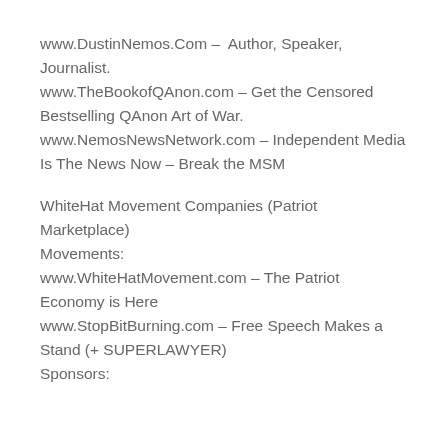www.DustinNemos.Com – Author, Speaker, Journalist.
www.TheBookofQAnon.com – Get the Censored Bestselling QAnon Art of War.
www.NemosNewsNetwork.com – Independent Media Is The News Now – Break the MSM
WhiteHat Movement Companies (Patriot Marketplace)
Movements:
www.WhiteHatMovement.com – The Patriot Economy is Here
www.StopBitBurning.com – Free Speech Makes a Stand (+ SUPERLAWYER)
Sponsors: